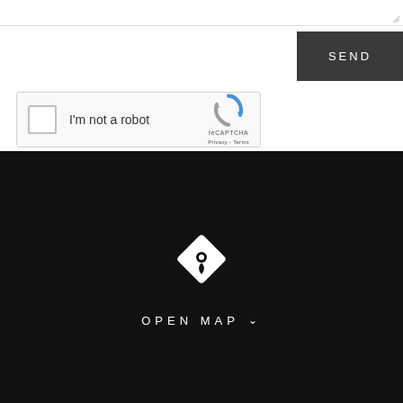[Figure (screenshot): reCAPTCHA widget with checkbox labeled I'm not a robot, showing the reCAPTCHA logo, Privacy and Terms links]
SEND
[Figure (other): Dark map section with a white diamond location pin icon and OPEN MAP label with a chevron]